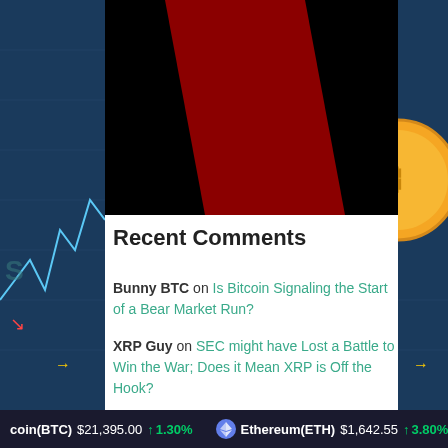[Figure (illustration): Black background with a dark red diagonal stripe/banner crossing from lower-left to upper-right]
Recent Comments
Bunny BTC on Is Bitcoin Signaling the Start of a Bear Market Run?
XRP Guy on SEC might have Lost a Battle to Win the War; Does it Mean XRP is Off the Hook?
coin(BTC) $21,395.00 ↑ 1.30% Ethereum(ETH) $1,642.55 ↑ 3.80%